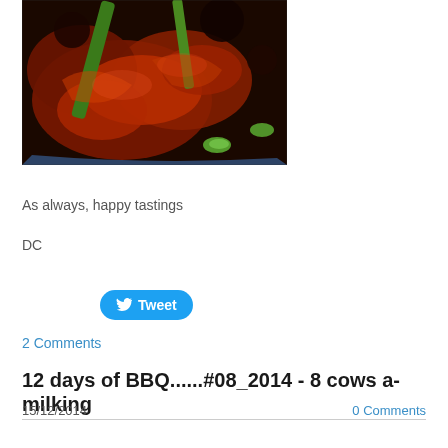[Figure (photo): Close-up photo of BBQ chicken pieces glazed with dark red sauce, garnished with green onion/scallion stalks, in a blue dish]
As always, happy tastings
DC
[Figure (other): Twitter Tweet button (blue rounded button with bird icon and 'Tweet' text)]
2 Comments
12 days of BBQ......#08_2014 - 8 cows a-milking
15/12/2014    0 Comments